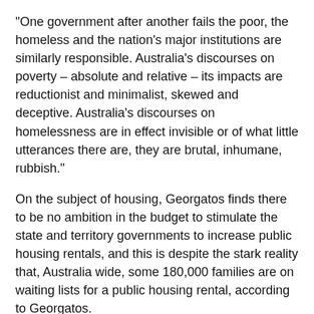"One government after another fails the poor, the homeless and the nation's major institutions are similarly responsible. Australia's discourses on poverty – absolute and relative – its impacts are reductionist and minimalist, skewed and deceptive. Australia's discourses on homelessness are in effect invisible or of what little utterances there are, they are brutal, inhumane, rubbish."
On the subject of housing, Georgatos finds there to be no ambition in the budget to stimulate the state and territory governments to increase public housing rentals, and this is despite the stark reality that, Australia wide, some 180,000 families are on waiting lists for a public housing rental, according to Georgatos.
The benefits offered to Australia's unemployed, low income earners, and its middle class are few and far between, especially if we are to peer into what kind of future is being planned out by way of the latest federal budget. If recent history is any indication, the nation's most vulnerable will be